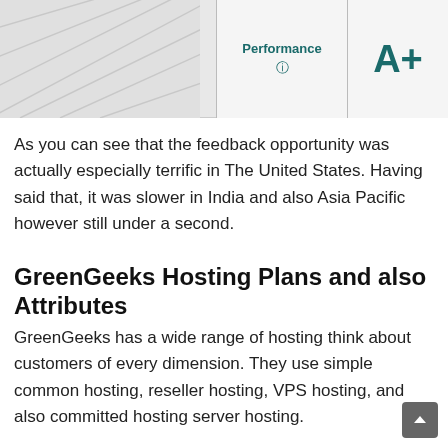[Figure (other): Top bar with diagonal line graphic on the left, a 'Performance' label with question mark icon in the center-right cell, and a large 'A+' grade in the rightmost cell]
As you can see that the feedback opportunity was actually especially terrific in The United States. Having said that, it was slower in India and also Asia Pacific however still under a second.
GreenGeeks Hosting Plans and also Attributes
GreenGeeks has a wide range of hosting think about customers of every dimension. They use simple common hosting, reseller hosting, VPS hosting, and also committed hosting server hosting.